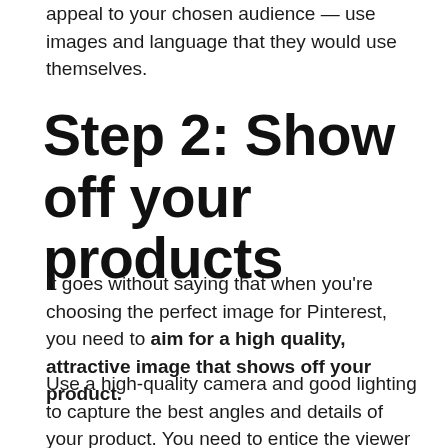appeal to your chosen audience — use images and language that they would use themselves.
Step 2: Show off your products
It goes without saying that when you're choosing the perfect image for Pinterest, you need to aim for a high quality, attractive image that shows off your product.
Use a high-quality camera and good lighting to capture the best angles and details of your product. You need to entice the viewer with